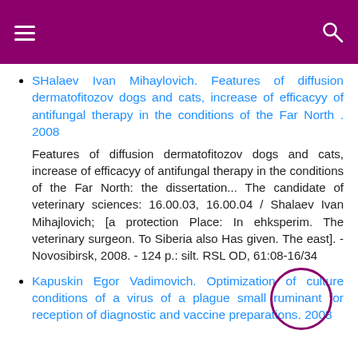SHalaev Ivan Mihaylovich. Features of diffusion dermatofitozov dogs and cats, increase of efficacyy of antifungal therapy in the conditions of the Far North . 2008
Features of diffusion dermatofitozov dogs and cats, increase of efficacyy of antifungal therapy in the conditions of the Far North: the dissertation... The candidate of veterinary sciences: 16.00.03, 16.00.04 / Shalaev Ivan Mihajlovich; [a protection Place: In ehksperim. The veterinary surgeon. To Siberia also Has given. The east]. - Novosibirsk, 2008. - 124 p.: silt. RSL OD, 61:08-16/34
Kapuskin Egor Vadimovich. Optimization of culture conditions of a virus of a plague small ruminant for reception of diagnostic and vaccine preparations. 2008